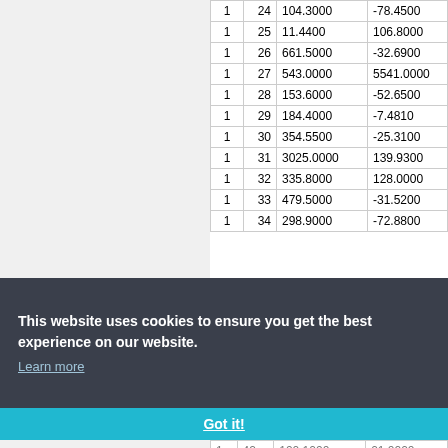| col1 | col2 | col3 | col4 |
| --- | --- | --- | --- |
| 1 | 24 | 104.3000 | -78.4500 |
| 1 | 25 | 11.4400 | 106.8000 |
| 1 | 26 | 661.5000 | -32.6900 |
| 1 | 27 | 543.0000 | 5541.0000 |
| 1 | 28 | 153.6000 | -52.6500 |
| 1 | 29 | 184.4000 | -7.4810 |
| 1 | 30 | 354.5500 | -25.3100 |
| 1 | 31 | 3025.0000 | 139.9300 |
| 1 | 32 | 335.8000 | 128.0000 |
| 1 | 33 | 479.5000 | -31.5200 |
| 1 | 34 | 298.9000 | -72.8800 |
This website uses cookies to ensure you get the best experience on our website.
Learn more
Got it!
| 1 | 42 | 100.1000 | 01.0000 |